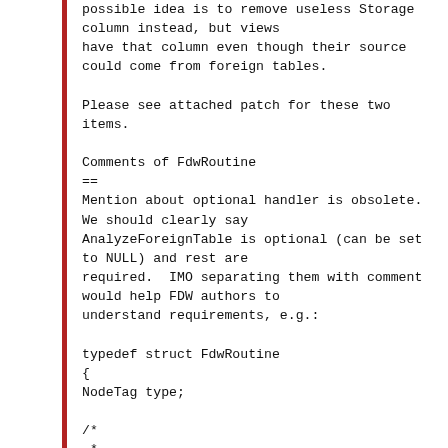possible idea is to remove useless Storage
column instead, but views
have that column even though their source
could come from foreign tables.

Please see attached patch for these two
items.

Comments of FdwRoutine
==
Mention about optional handler is obsolete.
We should clearly say
AnalyzeForeignTable is optional (can be set
to NULL) and rest are
required.  IMO separating them with comment
would help FDW authors to
understand requirements, e.g.:

typedef struct FdwRoutine
{
NodeTag type;

/*
 *